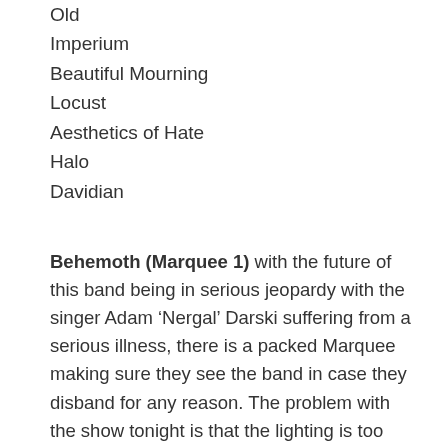Old
Imperium
Beautiful Mourning
Locust
Aesthetics of Hate
Halo
Davidian
Behemoth (Marquee 1) with the future of this band being in serious jeopardy with the singer Adam ‘Nergal’ Darski suffering from a serious illness, there is a packed Marquee making sure they see the band in case they disband for any reason. The problem with the show tonight is that the lighting is too dark so you can't always see what is going on. They have a good pyrotechnics show and flames ext... but you do feel you have see loads of bands do this before them like 1349 and Watain and that they could have thought of something new...